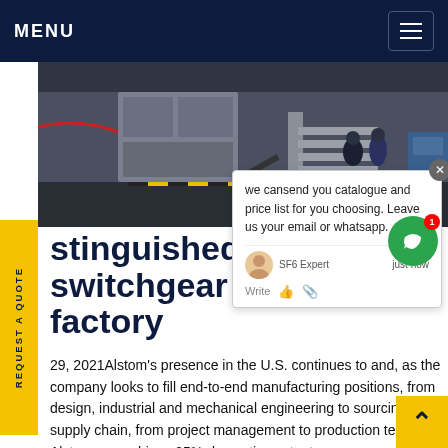MENU
[Figure (photo): Industrial SF6 switchgear equipment and workers at a facility outdoor area]
we cansend you catalogue and price list for you choosing. Leave us your email or whatsapp.
Distinguished SF6 Switchgear repair life factory
29, 2021Alstom's presence in the U.S. continues to and, as the company looks to fill end-to-end manufacturing positions, from design, industrial and mechanical engineering to sourcing and supply chain, from project management to production testing. Alstom can achieve 95% domestic content